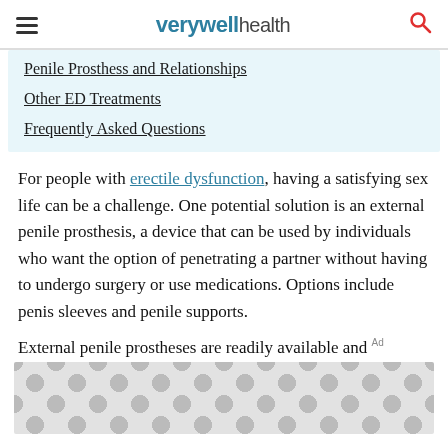verywell health
Penile Prosthess and Relationships
Other ED Treatments
Frequently Asked Questions
For people with erectile dysfunction, having a satisfying sex life can be a challenge. One potential solution is an external penile prosthesis, a device that can be used by individuals who want the option of penetrating a partner without having to undergo surgery or use medications. Options include penis sleeves and penile supports.
External penile prostheses are readily available and
[Figure (other): Advertisement placeholder with circular pattern background]